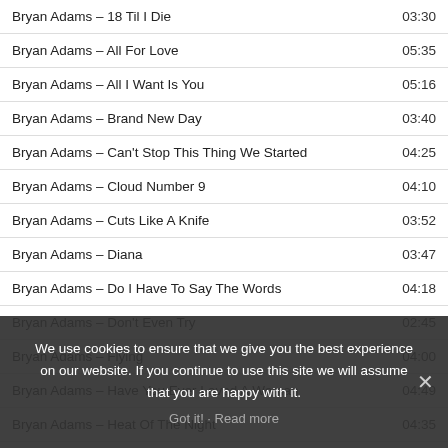| Title | Duration |
| --- | --- |
| Bryan Adams – 18 Til I Die | 03:30 |
| Bryan Adams – All For Love | 05:35 |
| Bryan Adams – All I Want Is You | 05:16 |
| Bryan Adams – Brand New Day | 03:40 |
| Bryan Adams – Can't Stop This Thing We Started | 04:25 |
| Bryan Adams – Cloud Number 9 | 04:10 |
| Bryan Adams – Cuts Like A Knife | 03:52 |
| Bryan Adams – Diana | 03:47 |
| Bryan Adams – Do I Have To Say The Words | 04:18 |
| Bryan Adams – Don't Even Try | 02:45 |
| Bryan Adams – Flying | 04:00 |
| Bryan Adams – Have You Ever Loved A Woman | 04:49 |
| Bryan Adams – Heat Of The Night | 04:35 |
| Bryan Adams – Heaven | 04:04 |
| Bryan Adams – More Da… | … |
We use cookies to ensure that we give you the best experience on our website. If you continue to use this site we will assume that you are happy with it.